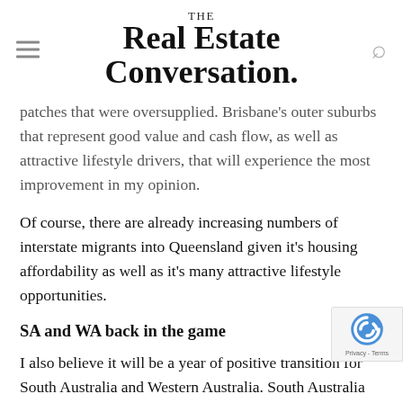THE Real Estate Conversation.
...patches that were oversupplied. Brisbane's outer suburbs that represent good value and cash flow, as well as attractive lifestyle drivers, that will experience the most improvement in my opinion.
Of course, there are already increasing numbers of interstate migrants into Queensland given it's housing affordability as well as it's many attractive lifestyle opportunities.
SA and WA back in the game
I also believe it will be a year of positive transition for South Australia and Western Australia. South Australia always seems to lag behind other capital cities and by the time most investors realise what's happening it's too late...